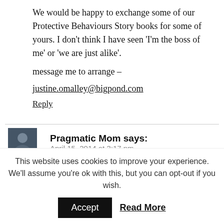We would be happy to exchange some of our Protective Behaviours Story books for some of yours. I don't think I have seen 'I'm the boss of me' or 'we are just alike'. message me to arrange – justine.omalley@bigpond.com
Reply
Pragmatic Mom says: April 15, 2014 at 3:17 pm
Hi Justine, What a great idea to exchange resources
This website uses cookies to improve your experience. We'll assume you're ok with this, but you can opt-out if you wish.
Accept   Read More